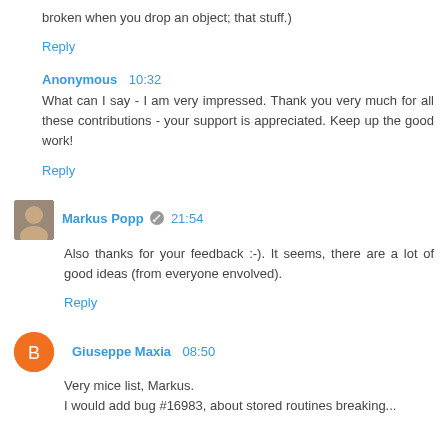broken when you drop an object; that stuff.)
Reply
Anonymous 10:32
What can I say - I am very impressed. Thank you very much for all these contributions - your support is appreciated. Keep up the good work!
Reply
Markus Popp 21:54
Also thanks for your feedback :-). It seems, there are a lot of good ideas (from everyone envolved).
Reply
Giuseppe Maxia 08:50
Very mice list, Markus. I would add bug #16983, about stored routines breaking...